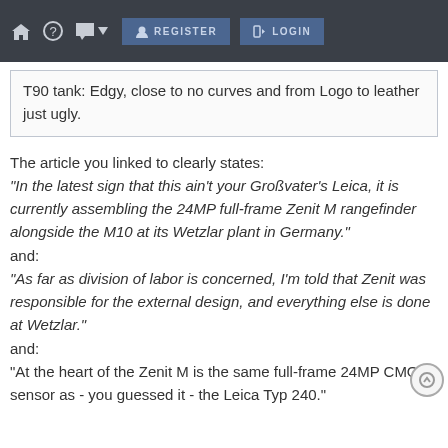🏠  ?  💬 ▾  REGISTER  LOGIN
T90 tank: Edgy, close to no curves and from Logo to leather just ugly.
The article you linked to clearly states:
"In the latest sign that this ain't your Großvater's Leica, it is currently assembling the 24MP full-frame Zenit M rangefinder alongside the M10 at its Wetzlar plant in Germany."
and:
"As far as division of labor is concerned, I'm told that Zenit was responsible for the external design, and everything else is done at Wetzlar."
and:
"At the heart of the Zenit M is the same full-frame 24MP CMOS sensor as - you guessed it - the Leica Typ 240."